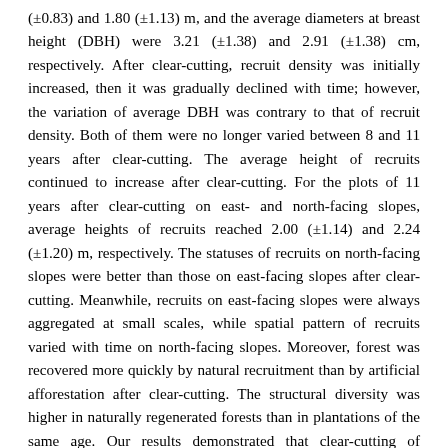(±0.83) and 1.80 (±1.13) m, and the average diameters at breast height (DBH) were 3.21 (±1.38) and 2.91 (±1.38) cm, respectively. After clear-cutting, recruit density was initially increased, then it was gradually declined with time; however, the variation of average DBH was contrary to that of recruit density. Both of them were no longer varied between 8 and 11 years after clear-cutting. The average height of recruits continued to increase after clear-cutting. For the plots of 11 years after clear-cutting on east- and north-facing slopes, average heights of recruits reached 2.00 (±1.14) and 2.24 (±1.20) m, respectively. The statuses of recruits on north-facing slopes were better than those on east-facing slopes after clear-cutting. Meanwhile, recruits on east-facing slopes were always aggregated at small scales, while spatial pattern of recruits varied with time on north-facing slopes. Moreover, forest was recovered more quickly by natural recruitment than by artificial afforestation after clear-cutting. The structural diversity was higher in naturally regenerated forests than in plantations of the same age. Our results demonstrated that clear-cutting of Chinese pine plantations recovered by natural recruitment has the potential to be an effective approach for